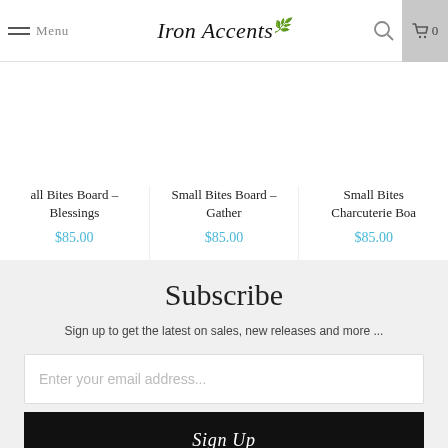Menu | Iron Accents | Search | Cart 0
all Bites Board – Blessings
$85.00
Small Bites Board – Gather
$85.00
Small Bites Charcuterie Boa
$85.00
Subscribe
Sign up to get the latest on sales, new releases and more ...
Enter your email address...
Sign Up